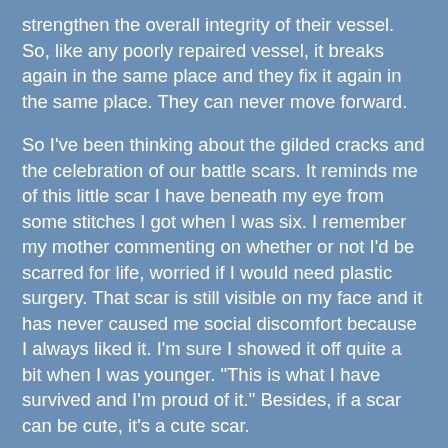strengthen the overall integrity of their vessel. So, like any poorly repaired vessel, it breaks again in the same place and they fix it again in the same place. They can never move forward.
So I've been thinking about the gilded cracks and the celebration of our battle scars. It reminds me of this little scar I have beneath my eye from some stitches I got when I was six. I remember my mother commenting on whether or not I'd be scarred for life, worried if I would need plastic surgery. That scar is still visible on my face and it has never caused me social discomfort because I always liked it. I'm sure I showed it off quite a bit when I was younger. "This is what I have survived and I'm proud of it." Besides, if a scar can be cute, it's a cute scar.
But then there are scars that bother me more. I spend a lot of time worrying about the inevitable "scars" that will come when I finally lose weight, for example...the loose skin and new wrinkles and whatnot. And I think that's why Kintsugi has been on my mind. We shouldn't even allow the FEAR of scars to hold us back, especially not when we know how